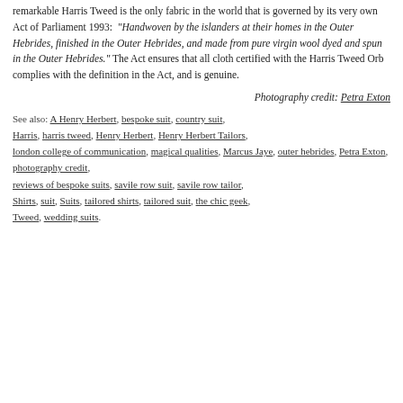remarkable Harris Tweed is the only fabric in the world that is governed by its very own Act of Parliament 1993: “Handwoven by the islanders at their homes in the Outer Hebrides, finished in the Outer Hebrides, and made from pure virgin wool dyed and spun in the Outer Hebrides.” The Act ensures that all cloth certified with the Harris Tweed Orb complies with the definition in the Act, and is genuine.
Photography credit: Petra Exton
See also: A Henry Herbert, bespoke suit, country suit, Harris, harris tweed, Henry Herbert, Henry Herbert Tailors, london college of communication, magical qualities, Marcus Jaye, outer hebrides, Petra Exton, photography credit, reviews of bespoke suits, savile row suit, savile row tailor, Shirts, suit, Suits, tailored shirts, tailored suit, the chic geek, Tweed, wedding suits.